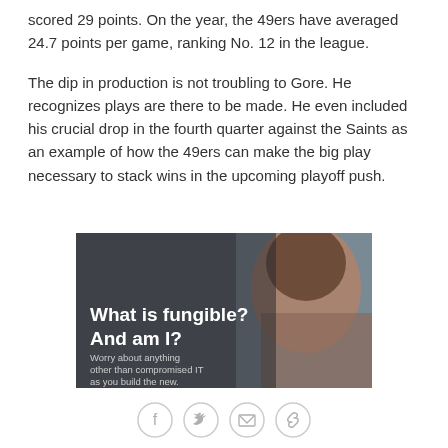scored 29 points. On the year, the 49ers have averaged 24.7 points per game, ranking No. 12 in the league.
The dip in production is not troubling to Gore. He recognizes plays are there to be made. He even included his crucial drop in the fourth quarter against the Saints as an example of how the 49ers can make the big play necessary to stack wins in the upcoming playoff push.
[Figure (photo): Advertisement image showing a man's face with text overlay: 'What is fungible? And am I? Worry about anything other than compromised IT as you build the new.']
[Figure (infographic): Social sharing icons: Facebook, Twitter, Email, Link]